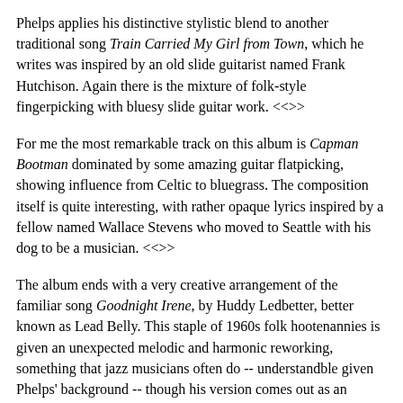Phelps applies his distinctive stylistic blend to another traditional song Train Carried My Girl from Town, which he writes was inspired by an old slide guitarist named Frank Hutchison. Again there is the mixture of folk-style fingerpicking with bluesy slide guitar work. <<>>
For me the most remarkable track on this album is Capman Bootman dominated by some amazing guitar flatpicking, showing influence from Celtic to bluegrass. The composition itself is quite interesting, with rather opaque lyrics inspired by a fellow named Wallace Stevens who moved to Seattle with his dog to be a musician. <<>>
The album ends with a very creative arrangement of the familiar song Goodnight Irene, by Huddy Ledbetter, better known as Lead Belly. This staple of 1960s folk hootenannies is given an unexpected melodic and harmonic reworking, something that jazz musicians often do -- understandble given Phelps' background -- though his version comes out as an introspective folk-style lullaby. <<>>
Kelly Joe Phelps' new third CD Shine Eyed Mister Zen is a remarkable recording that shows the power of simplicity in making for very memorable music. With just his guitar and vocal, Phelps applies his considerable skills with both to come up with an album